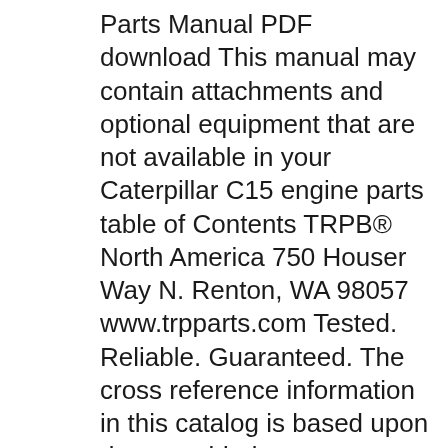Parts Manual PDF download This manual may contain attachments and optional equipment that are not available in your Caterpillar C15 engine parts table of Contents TRPB® North America 750 Houser Way N. Renton, WA 98057 www.trpparts.com Tested. Reliable. Guaranteed. The cross reference information in this catalog is based upon data provided
Instant download 2005 Caterpillar C11,C13,C15 On-highway Engine Service Repair Workshop Manual(SENR9700).. Machine model: 2005 Caterpillar C11,C13,C15 On-highway Engine. Manual Covers: *Specification C-15 *Disassembly and